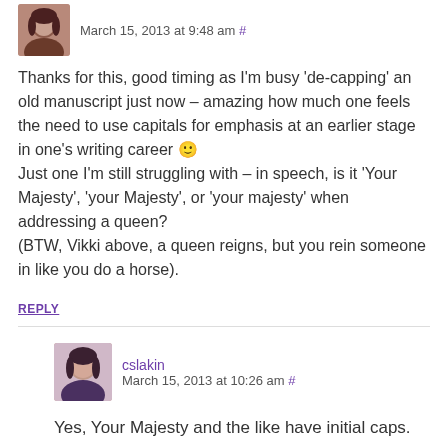March 15, 2013 at 9:48 am #
Thanks for this, good timing as I'm busy 'de-capping' an old manuscript just now – amazing how much one feels the need to use capitals for emphasis at an earlier stage in one's writing career 🙂
Just one I'm still struggling with – in speech, is it 'Your Majesty', 'your Majesty', or 'your majesty' when addressing a queen?
(BTW, Vikki above, a queen reigns, but you rein someone in like you do a horse).
REPLY
cslakin
March 15, 2013 at 10:26 am #
Yes, Your Majesty and the like have initial caps.